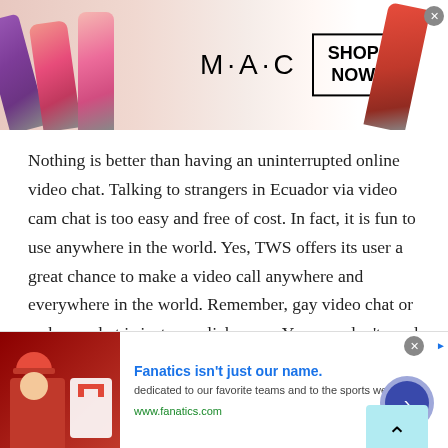[Figure (illustration): MAC cosmetics advertisement banner showing lipsticks in purple, pink, and red colors on left and right sides, with MAC logo and SHOP NOW box in the center]
Nothing is better than having an uninterrupted online video chat. Talking to strangers in Ecuador via video cam chat is too easy and free of cost. In fact, it is fun to use anywhere in the world. Yes, TWS offers its user a great chance to make a video call anywhere and everywhere in the world. Remember, gay video chat or webcam chat is just one click away. Yes, you don't need to install any software to start a gay video chat. Well, not only gay users, TWS always welcome teen boys, girls, male and female
[Figure (screenshot): Fanatics advertisement banner showing a person in sports apparel with headline 'Fanatics isn't just our name.' and text 'dedicated to our favorite teams and to the sports we love.' and URL www.fanatics.com with a blue circular CTA button]